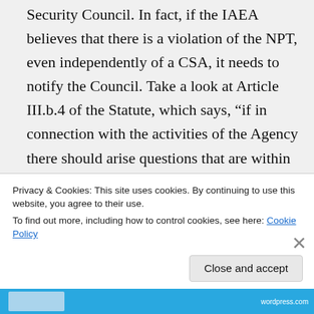Security Council. In fact, if the IAEA believes that there is a violation of the NPT, even independently of a CSA, it needs to notify the Council. Take a look at Article III.b.4 of the Statute, which says, “if in connection with the activities of the Agency there should arise questions that are within the competence of the Security Council, the Agency shall notify the Security
Privacy & Cookies: This site uses cookies. By continuing to use this website, you agree to their use.
To find out more, including how to control cookies, see here: Cookie Policy